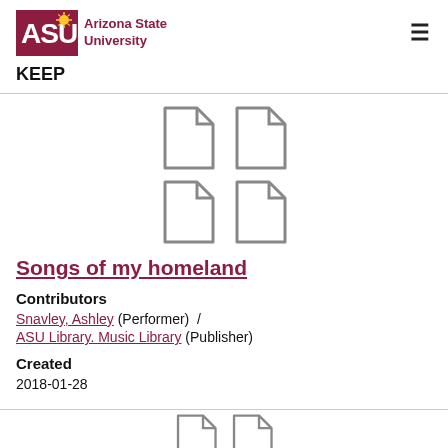ASU Arizona State University KEEP
[Figure (illustration): Four document/file icons arranged in a 2x2 grid, gray outline style]
Songs of my homeland
Contributors
Snavley, Ashley (Performer)  /  ASU Library. Music Library (Publisher)
Created
2018-01-28
[Figure (illustration): Partial document icons at the bottom of the page]